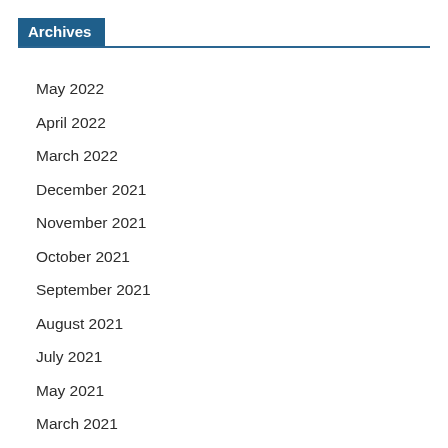Archives
May 2022
April 2022
March 2022
December 2021
November 2021
October 2021
September 2021
August 2021
July 2021
May 2021
March 2021
January 2021
December 2020